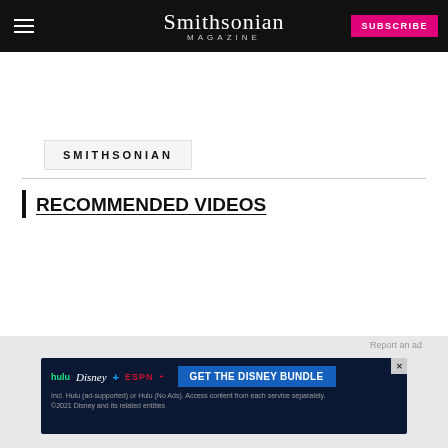Smithsonian Magazine — SUBSCRIBE
SMITHSONIAN
RECOMMENDED VIDEOS
[Figure (screenshot): Video thumbnail showing Smithsonian 2022 with dark blue building/structure imagery and an X close button]
[Figure (screenshot): Disney Bundle advertisement: hulu, Disney+, ESPN+ — GET THE DISNEY BUNDLE — Incl. Hulu (ad-supported) or Hulu (No Ads). Access content from each service separately. ©2021 Disney and its related entities]
Report an ad